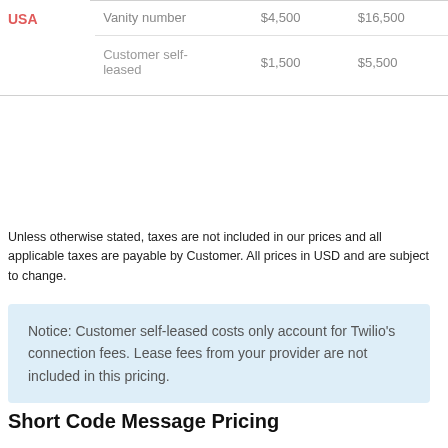|  | Type | Price1 | Price2 |
| --- | --- | --- | --- |
| USA | Vanity number | $4,500 | $16,500 |
|  | Customer self-leased | $1,500 | $5,500 |
Unless otherwise stated, taxes are not included in our prices and all applicable taxes are payable by Customer. All prices in USD and are subject to change.
Notice: Customer self-leased costs only account for Twilio's connection fees. Lease fees from your provider are not included in this pricing.
Short Code Message Pricing